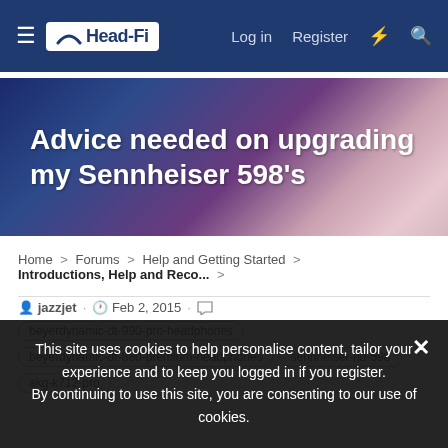Head-Fi — Log in  Register
[Figure (screenshot): Head-Fi forum banner: Advice needed on upgrading my Sennheiser 598's — purple/pink gradient background]
Advice needed on upgrading my Sennheiser 598's
Home > Forums > Help and Getting Started > Introductions, Help and Reco... >
jazzjet · Feb 2, 2015 · beyerdynamic-dt-990-pro-headphones beyerdynamic-dt-880-premium-headphones  sennheiser-hd-598  akg-k712-pro
This site uses cookies to help personalise content, tailor your experience and to keep you logged in if you register. By continuing to use this site, you are consenting to our use of cookies.